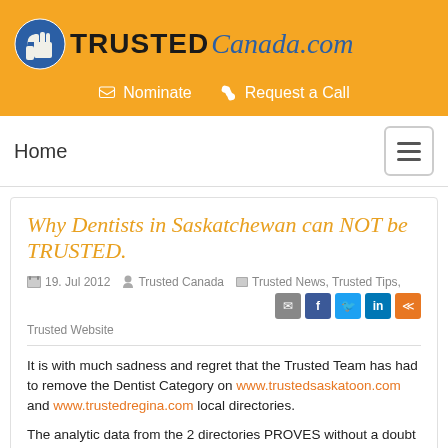[Figure (logo): TrustedCanada.com logo with thumbs-up icon on orange background]
Nominate   Request a Call
Home
Why Dentists in Saskatchewan can NOT be TRUSTED.
19. Jul 2012   Trusted Canada   Trusted News, Trusted Tips, Trusted Website
It is with much sadness and regret that the Trusted Team has had to remove the Dentist Category on www.trustedsaskatoon.com and www.trustedregina.com local directories.
The analytic data from the 2 directories PROVES without a doubt that the public were looking for Trusted Dentists in Saskatchewan